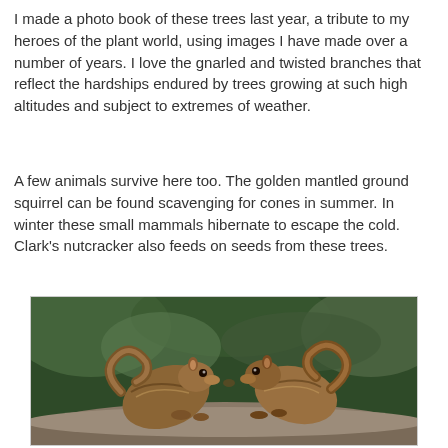I made a photo book of these trees last year, a tribute to my heroes of the plant world, using images I have made over a number of years. I love the gnarled and twisted branches that reflect the hardships endured by trees growing at such high altitudes and subject to extremes of weather.
A few animals survive here too. The golden mantled ground squirrel can be found scavenging for cones in summer. In winter these small mammals hibernate to escape the cold. Clark's nutcracker also feeds on seeds from these trees.
[Figure (photo): Two golden mantled ground squirrels (chipmunks) touching noses on a rock, with blurred green foliage in the background.]